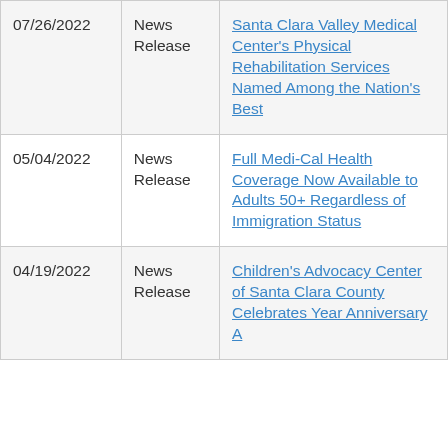| Date | Type | Title |
| --- | --- | --- |
| 07/26/2022 | News Release | Santa Clara Valley Medical Center’s Physical Rehabilitation Services Named Among the Nation’s Best |
| 05/04/2022 | News Release | Full Medi-Cal Health Coverage Now Available to Adults 50+ Regardless of Immigration Status |
| 04/19/2022 | News Release | Children’s Advocacy Center of Santa Clara County Celebrates Year Anniversary A… |